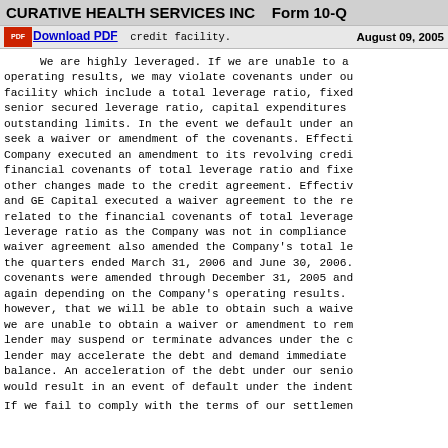CURATIVE HEALTH SERVICES INC   Form 10-Q
our substantial outstanding debt subjects us to cove... secured credit facility.   August 09, 2005
We are highly leveraged. If we are unable to achieve our operating results, we may violate covenants under our credit facility which include a total leverage ratio, fixed charge and senior secured leverage ratio, capital expenditures and revolving outstanding limits. In the event we default under any covenants, we seek a waiver or amendment of the covenants. Effective May 6, 2005, the Company executed an amendment to its revolving credit facility amending the financial covenants of total leverage ratio and fixed charge ratio among other changes made to the credit agreement. Effectively September 29, 2005, and GE Capital executed a waiver agreement to the revolving credit facility related to the financial covenants of total leverage ratio and senior secured leverage ratio as the Company was not in compliance with such covenants. The waiver agreement also amended the Company's total leverage ratio covenant for the quarters ended March 31, 2006 and June 30, 2006. The fixed charge ratio covenants were amended through December 31, 2005 and may need to be amended again depending on the Company's operating results. There is no assurance, however, that we will be able to obtain such a waiver or amendment. If we are unable to obtain a waiver or amendment to remedy the default, the lender may suspend or terminate advances under the credit facility, and the lender may accelerate the debt and demand immediate repayment of the balance. An acceleration of the debt under our senior secured credit facility would result in an event of default under the indentures...
If we fail to comply with the terms of our settlement...